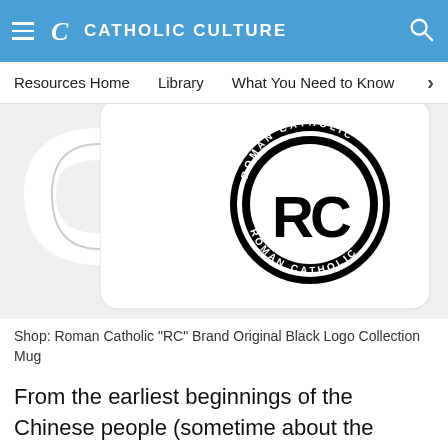CATHOLIC CULTURE
[Figure (photo): A white ceramic mug with a circular black Roman Catholic RC Brand logo printed on it. The logo shows interlocked RC letters in the center surrounded by the text ROMAN CATHOLIC on the border.]
Shop: Roman Catholic "RC" Brand Original Black Logo Collection Mug
From the earliest beginnings of the Chinese people (sometime about the middle of the third millennium before Christ), religious sentiment towards the Supreme Being and diligent filial piety towards